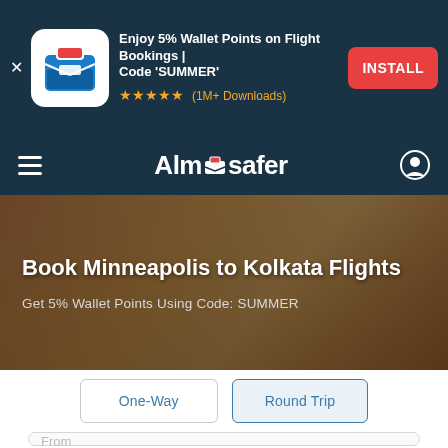[Figure (screenshot): App install advertisement banner for Almosafer travel app. Shows app icon, text 'Enjoy 5% Wallet Points on Flight Bookings | Code SUMMER', star rating with (1M+ Downloads), and red INSTALL button.]
Almosafer navigation bar with hamburger menu and user icon
Book Minneapolis to Kolkata Flights
Get 5% Wallet Points Using Code: SUMMER
One-Way    Round Trip
From